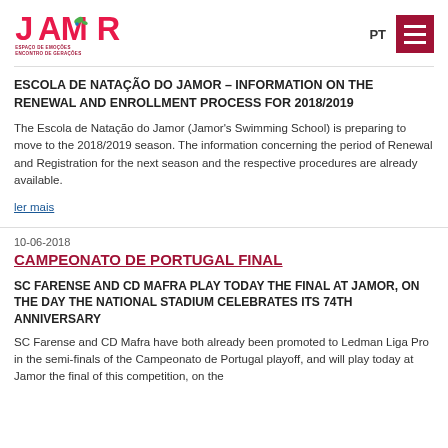[Figure (logo): JAMOR logo with colorful letters and tagline 'ESPAÇO DE EMOÇÕES ENCONTRO DE GERAÇÕES']
PT
ESCOLA DE NATAÇÃO DO JAMOR – INFORMATION ON THE RENEWAL AND ENROLLMENT PROCESS FOR 2018/2019
The Escola de Natação do Jamor (Jamor's Swimming School) is preparing to move to the 2018/2019 season. The information concerning the period of Renewal and Registration for the next season and the respective procedures are already available.
ler mais
10-06-2018
CAMPEONATO DE PORTUGAL FINAL
SC FARENSE AND CD MAFRA PLAY TODAY THE FINAL AT JAMOR, ON THE DAY THE NATIONAL STADIUM CELEBRATES ITS 74TH ANNIVERSARY
SC Farense and CD Mafra have both already been promoted to Ledman Liga Pro in the semi-finals of the Campeonato de Portugal playoff, and will play today at Jamor the final of this competition, on the